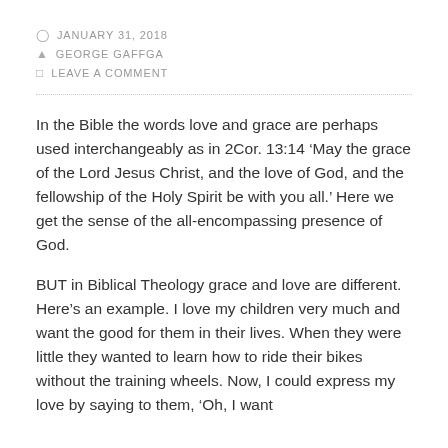JANUARY 31, 2018 | GEORGE GAFFGA | LEAVE A COMMENT
In the Bible the words love and grace are perhaps used interchangeably as in 2Cor. 13:14 ‘May the grace of the Lord Jesus Christ, and the love of God, and the fellowship of the Holy Spirit be with you all.’ Here we get the sense of the all-encompassing presence of God.
BUT in Biblical Theology grace and love are different. Here’s an example. I love my children very much and want the good for them in their lives. When they were little they wanted to learn how to ride their bikes without the training wheels. Now, I could express my love by saying to them, ‘Oh, I want